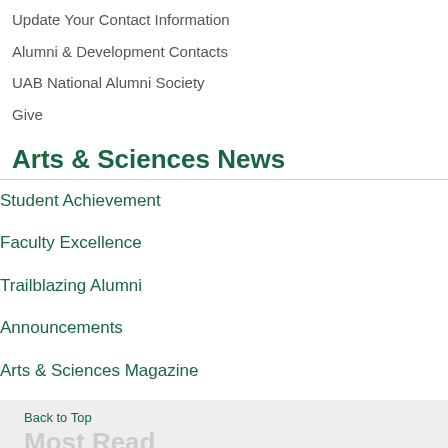Update Your Contact Information
Alumni & Development Contacts
UAB National Alumni Society
Give
Arts & Sciences News
Student Achievement
Faculty Excellence
Trailblazing Alumni
Announcements
Arts & Sciences Magazine
Back to Top
Most Read